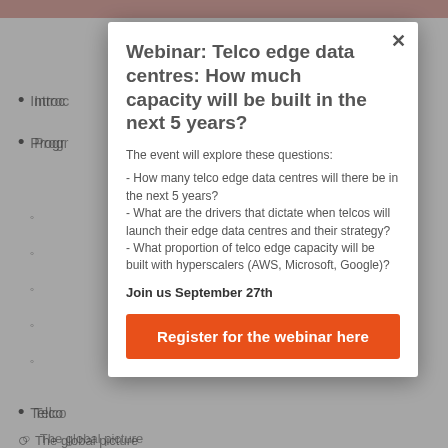Intro
Progr
Webinar: Telco edge data centres: How much capacity will be built in the next 5 years?
The event will explore these questions:
- How many telco edge data centres will there be in the next 5 years?
- What are the drivers that dictate when telcos will launch their edge data centres and their strategy?
- What proportion of telco edge capacity will be built with hyperscalers (AWS, Microsoft, Google)?
Join us September 27th
Register for the webinar here
Telco
The global picture